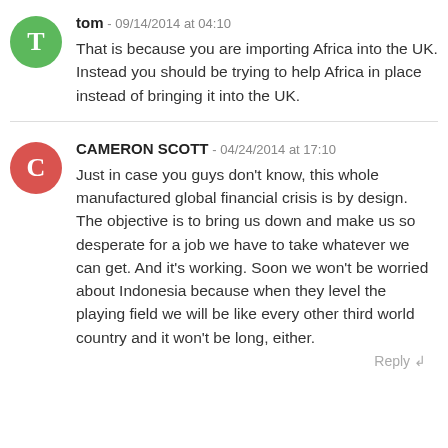tom - 09/14/2014 at 04:10
That is because you are importing Africa into the UK. Instead you should be trying to help Africa in place instead of bringing it into the UK.
CAMERON SCOTT - 04/24/2014 at 17:10
Just in case you guys don't know, this whole manufactured global financial crisis is by design. The objective is to bring us down and make us so desperate for a job we have to take whatever we can get. And it's working. Soon we won't be worried about Indonesia because when they level the playing field we will be like every other third world country and it won't be long, either.